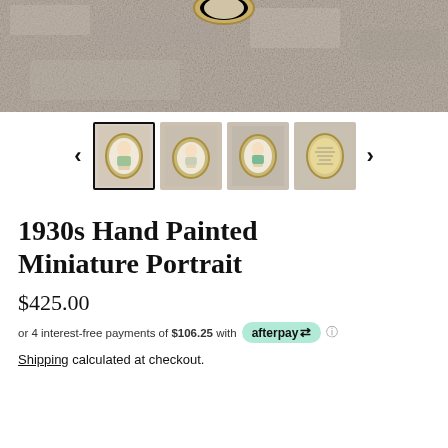[Figure (photo): Top portion of a product listing showing a close-up photo of a miniature portrait pendant on a stone/concrete surface, partially cropped]
[Figure (photo): Thumbnail gallery row with 4 small images of a miniature portrait pendant from different angles, with left and right navigation arrows. First thumbnail is selected with a border.]
1930s Hand Painted Miniature Portrait
$425.00
or 4 interest-free payments of $106.25 with afterpay ℹ
Shipping calculated at checkout.